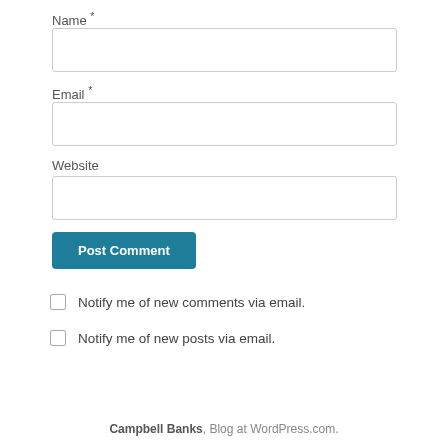Name *
[Figure (screenshot): Empty text input field for Name]
Email *
[Figure (screenshot): Empty text input field for Email]
Website
[Figure (screenshot): Empty text input field for Website]
[Figure (screenshot): Post Comment button in teal/dark cyan color]
Notify me of new comments via email.
Notify me of new posts via email.
Campbell Banks, Blog at WordPress.com.